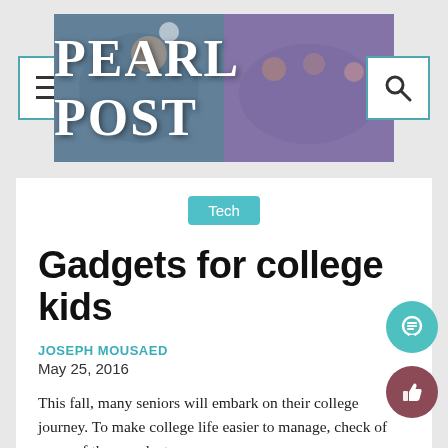PEARL POST
Tech
Gadgets for college kids
JOSEPH MOUSAED
May 25, 2016
This fall, many seniors will embark on their college journey. To make college life easier to manage, check of some of these gadgets.
Laptops